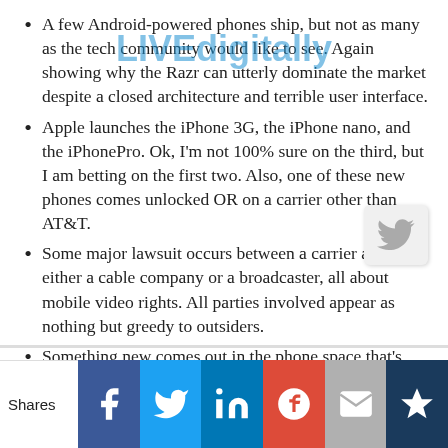A few Android-powered phones ship, but not as many as the tech community would like to see. Again showing why the Razr can utterly dominate the market despite a closed architecture and terrible user interface.
Apple launches the iPhone 3G, the iPhone nano, and the iPhonePro. Ok, I'm not 100% sure on the third, but I am betting on the first two. Also, one of these new phones comes unlocked OR on a carrier other than AT&T.
Some major lawsuit occurs between a carrier and either a cable company or a broadcaster, all about mobile video rights. All parties involved appear as nothing but greedy to outsiders.
Something new comes out in the phone space that's more astounding than the iPhone. It's possibly: uber-small, has a radically better battery life, does something funky like synchs with the Wii, or works with all US carriers.
Shares | Facebook | Twitter | LinkedIn | Google+ | Email | Crown